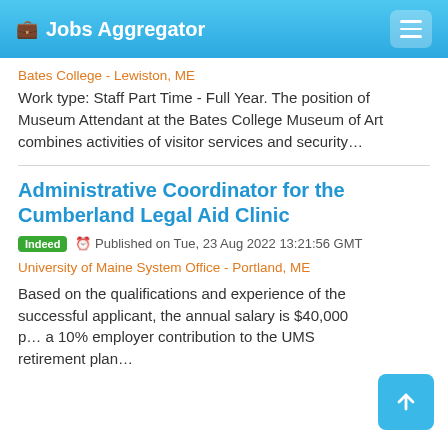Jobs Aggregator
Bates College - Lewiston, ME
Work type: Staff Part Time - Full Year. The position of Museum Attendant at the Bates College Museum of Art combines activities of visitor services and security…
Administrative Coordinator for the Cumberland Legal Aid Clinic
Indeed  Published on Tue, 23 Aug 2022 13:21:56 GMT
University of Maine System Office - Portland, ME
Based on the qualifications and experience of the successful applicant, the annual salary is $40,000 p… a 10% employer contribution to the UMS retirement plan…